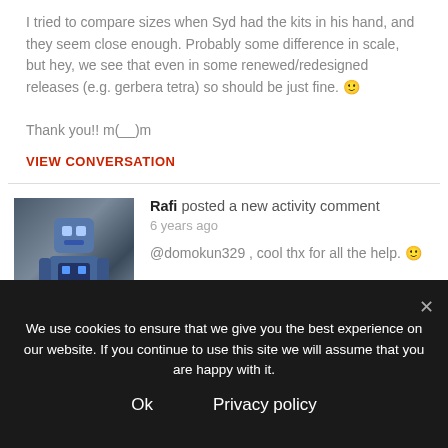I tried to compare sizes when Syd had the kits in his hand, and they seem close enough. Probably some difference in scale, but hey, we see that even in some renewed/redesigned releases (e.g. gerbera tetra) so should be just fine. 🙂

Thank you!! m(__)m
VIEW CONVERSATION
[Figure (photo): Avatar image of a robot/mech figure in blue tones]
Rafi posted a new activity comment
6 years ago
@domokun329 , cool thx for all the help. 🙂
Mostly I want a more advanced Kshatriya because the shield/binders don't split down in the standard
We use cookies to ensure that we give you the best experience on our website. If you continue to use this site we will assume that you are happy with it.
Ok     Privacy policy